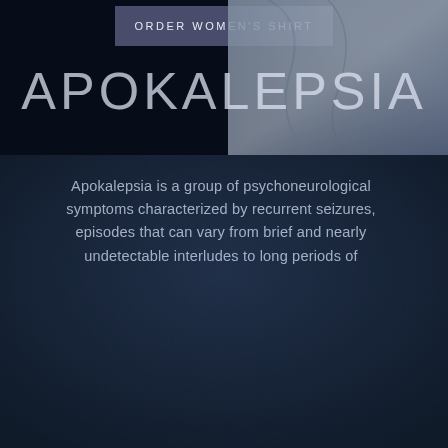[Figure (photo): Dark navy textured background with a top banner section showing a semi-transparent purple-grey button labeled ORDER WOMEN'S SHIRT, and a clothing photo in the upper right corner]
APOKALEPSIA
Apokalepsia is a group of psychoneurological symptoms characterized by recurrent seizures, episodes that can vary from brief and nearly undetectable interludes to long periods of